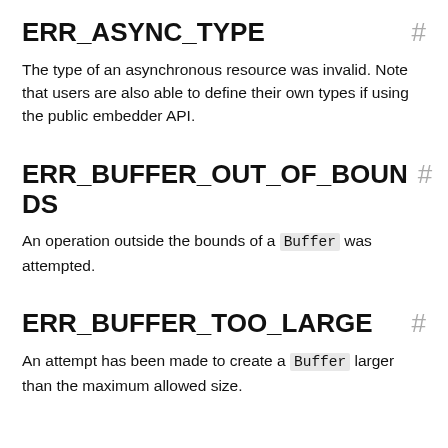ERR_ASYNC_TYPE #
The type of an asynchronous resource was invalid. Note that users are also able to define their own types if using the public embedder API.
ERR_BUFFER_OUT_OF_BOUNDS #
An operation outside the bounds of a Buffer was attempted.
ERR_BUFFER_TOO_LARGE #
An attempt has been made to create a Buffer larger than the maximum allowed size.